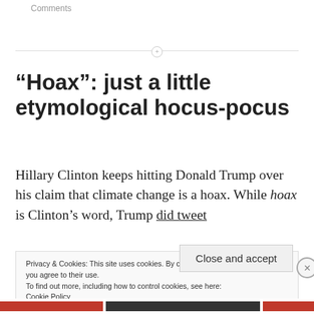Comments
“Hoax”: just a little etymological hocus-pocus
Hillary Clinton keeps hitting Donald Trump over his claim that climate change is a hoax. While hoax is Clinton’s word, Trump did tweet
Privacy & Cookies: This site uses cookies. By continuing to use this website, you agree to their use.
To find out more, including how to control cookies, see here:
Cookie Policy
Close and accept